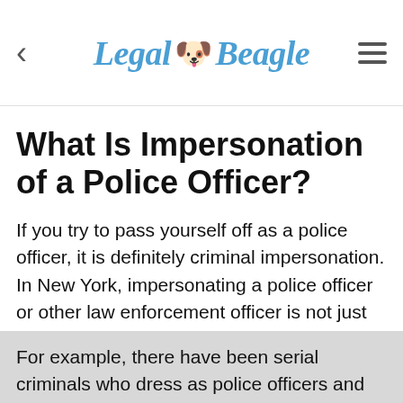Legal Beagle
What Is Impersonation of a Police Officer?
If you try to pass yourself off as a police officer, it is definitely criminal impersonation. In New York, impersonating a police officer or other law enforcement officer is not just criminal impersonation. It is criminal impersonation in the first degree if you say you are a cop with the intent of committing a felony.
For example, there have been serial criminals who dress as police officers and pull people over to com...